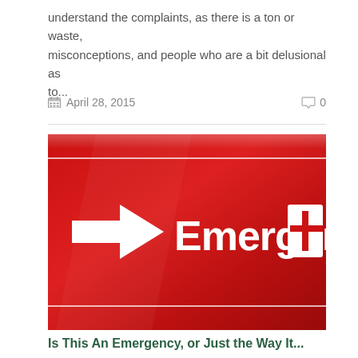understand the complaints, as there is a ton or waste, misconceptions, and people who are a bit delusional as to...
April 28, 2015   0
[Figure (photo): Red emergency room sign with white arrow pointing right and text 'Emergency' with a white cross symbol on the right]
Is This An Emergency, or Just the Way It...